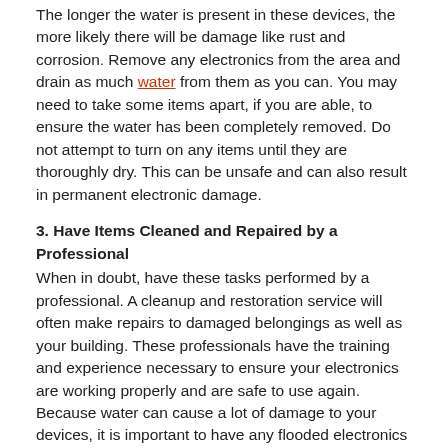The longer the water is present in these devices, the more likely there will be damage like rust and corrosion. Remove any electronics from the area and drain as much water from them as you can. You may need to take some items apart, if you are able, to ensure the water has been completely removed. Do not attempt to turn on any items until they are thoroughly dry. This can be unsafe and can also result in permanent electronic damage.
3. Have Items Cleaned and Repaired by a Professional
When in doubt, have these tasks performed by a professional. A cleanup and restoration service will often make repairs to damaged belongings as well as your building. These professionals have the training and experience necessary to ensure your electronics are working properly and are safe to use again.
Because water can cause a lot of damage to your devices, it is important to have any flooded electronics taken care of as soon as possible. Drying them quickly can reduce the likelihood of permanent damage. A professional service is your best bet if you want to salvage water-damaged items.
Commercial Cleaning